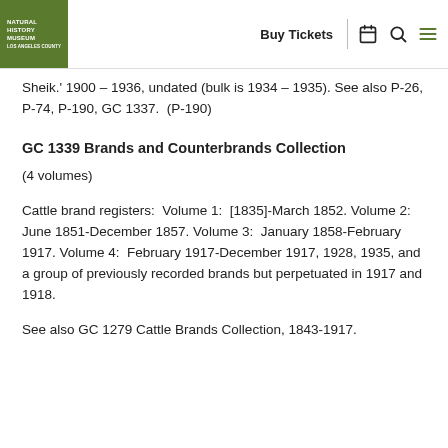NATURAL HISTORY MUSEUM LOS ANGELES COUNTY | Buy Tickets
Sheik.' 1900 – 1936, undated (bulk is 1934 – 1935). See also P-26, P-74, P-190, GC 1337.  (P-190)
GC 1339 Brands and Counterbrands Collection
(4 volumes)
Cattle brand registers:  Volume 1:  [1835]-March 1852. Volume 2:  June 1851-December 1857. Volume 3:  January 1858-February 1917. Volume 4:  February 1917-December 1917, 1928, 1935, and a group of previously recorded brands but perpetuated in 1917 and 1918.
See also GC 1279 Cattle Brands Collection, 1843-1917.